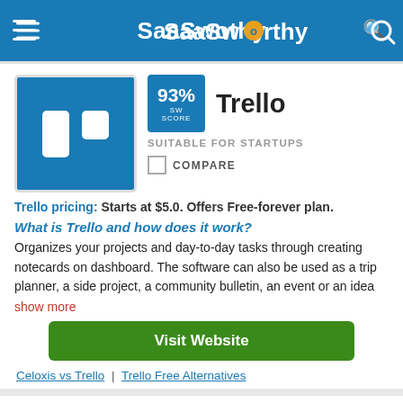SaaSworthy
[Figure (logo): Trello logo - white Trello icon on blue background]
93% SW SCORE
Trello
SUITABLE FOR STARTUPS
COMPARE
Trello pricing: Starts at $5.0. Offers Free-forever plan.
What is Trello and how does it work?
Organizes your projects and day-to-day tasks through creating notecards on dashboard. The software can also be used as a trip planner, a side project, a community bulletin, an event or an idea
show more
Visit Website
Celoxis vs Trello | Trello Free Alternatives
[Figure (logo): Basecamp logo - grey circular checkmark icon on yellow background]
93% SW SCORE
Basecamp
ADAPTIVE COLLABORATION APP FOR COMPLEX PROJECTS
Filter By